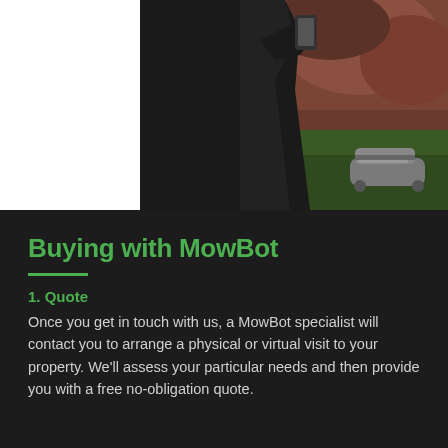[Figure (photo): A person in a black long-sleeve shirt holding a smartphone, with a robotic lawn mower visible on the grass in the background, surrounded by foliage.]
Buying with MowBot
1. Quote
Once you get in touch with us, a MowBot specialist will contact you to arrange a physical or virtual visit to your property. We'll assess your particular needs and then provide you with a free no-obligation quote.